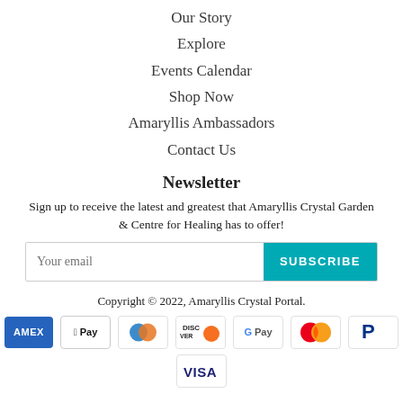Our Story
Explore
Events Calendar
Shop Now
Amaryllis Ambassadors
Contact Us
Newsletter
Sign up to receive the latest and greatest that Amaryllis Crystal Garden & Centre for Healing has to offer!
Your email | SUBSCRIBE
Copyright © 2022, Amaryllis Crystal Portal.
[Figure (other): Payment method icons: Amex, Apple Pay, Diners Club, Discover, Google Pay, Mastercard, PayPal, Visa]